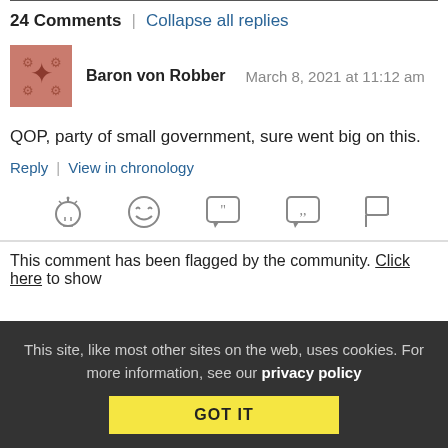24 Comments | Collapse all replies
Baron von Robber   March 8, 2021 at 11:12 am
QOP, party of small government, sure went big on this.
Reply | View in chronology
[Figure (infographic): Row of reaction icons: lightbulb, laughing face, quote bubble, quote bubble 2, flag]
This comment has been flagged by the community. Click here to show
This site, like most other sites on the web, uses cookies. For more information, see our privacy policy GOT IT